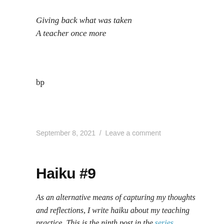Giving back what was taken
A teacher once more
bp
September 8, 2021 / Leave a comment
Haiku #9
As an alternative means of capturing my thoughts and reflections, I write haiku about my teaching practice. This is the ninth post in the series.